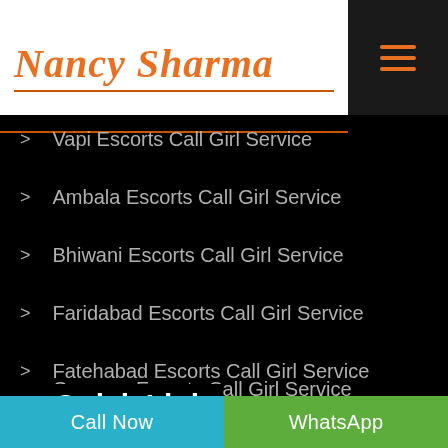Nancy Sharma
Vapi Escorts Call Girl Service
Ambala Escorts Call Girl Service
Bhiwani Escorts Call Girl Service
Faridabad Escorts Call Girl Service
Fatehabad Escorts Call Girl Service
Gurgaon Escorts Call Girl Service
Quick Link
Call Now   WhatsApp